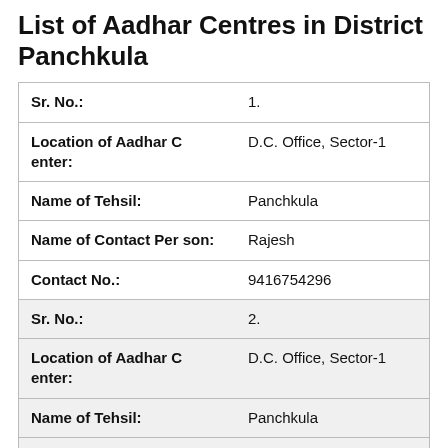List of Aadhar Centres in District Panchkula
| Sr. No.: | 1. |
| Location of Aadhar Center: | D.C. Office, Sector-1 |
| Name of Tehsil: | Panchkula |
| Name of Contact Person: | Rajesh |
| Contact No.: | 9416754296 |
| Sr. No.: | 2. |
| Location of Aadhar Center: | D.C. Office, Sector-1 |
| Name of Tehsil: | Panchkula |
| Name of Contact Person: | Ashok |